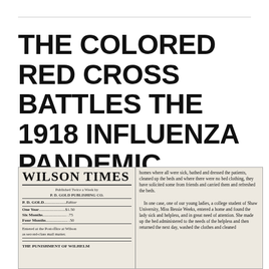THE COLORED RED CROSS BATTLES THE 1918 INFLUENZA PANDEMIC.
[Figure (photo): Scanned image of the Wilson Times newspaper masthead and beginning of an article. Left column shows the Wilson Times masthead, published twice a week by P.D. Gold Publishing Co., editor P.D. Gold, subscription rates (One Year $1.50, Six Months .75, Four Months .50), entered at Postoffice at Wilson as second-class mail matter, and headline 'THE PUNISHMENT OF WILHELM'. Right column contains article text about Red Cross workers visiting homes where all were sick, bathing and dressing patients, cleaning beds, soliciting bed clothing, and mentions Miss Bessie Weeks, a college student of Shaw University who entered a home and found the lady sick and helpless.]